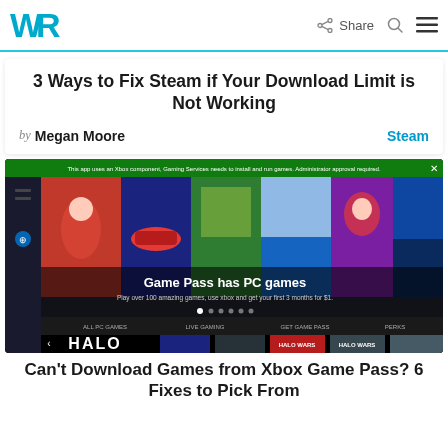WR | Share | Search | Menu
3 Ways to Fix Steam if Your Download Limit is Not Working
by Megan Moore   Steam
[Figure (screenshot): Screenshot of Xbox Game Pass PC games page showing game covers including Halo, and a banner reading 'Game Pass has PC games']
Can't Download Games from Xbox Game Pass? 6 Fixes to Pick From